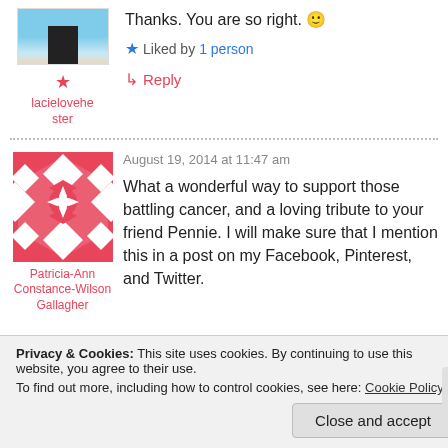[Figure (photo): Small avatar photo of a beach scene with a dark structure]
Thanks. You are so right. 😊
★ lacielovehester
★ Liked by 1 person
↳ Reply
[Figure (illustration): Pink and white quilted geometric pattern avatar]
Patricia-Ann Constance-Wilson Gallagher
August 19, 2014 at 11:47 am
What a wonderful way to support those battling cancer, and a loving tribute to your friend Pennie. I will make sure that I mention this in a post on my Facebook, Pinterest, and Twitter.
Privacy & Cookies: This site uses cookies. By continuing to use this website, you agree to their use. To find out more, including how to control cookies, see here: Cookie Policy
Close and accept